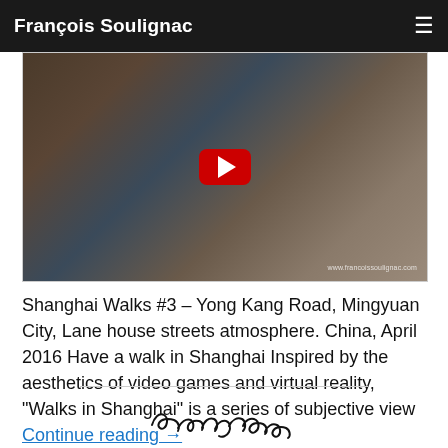François Soulignac
[Figure (screenshot): YouTube video thumbnail showing a scene from Shanghai Walks #3 with people sitting outdoors, a stuffed Mickey Mouse toy visible, and a YouTube play button overlaid in the center. Watermark reads www.francoissoulignac.com]
Shanghai Walks #3 – Yong Kang Road, Mingyuan City, Lane house streets atmosphere. China, April 2016 Have a walk in Shanghai Inspired by the aesthetics of video games and virtual reality, "Walks in Shanghai" is a series of subjective view Continue reading →
[Figure (illustration): Handwritten cursive signature reading 'soulignac' in black ink]